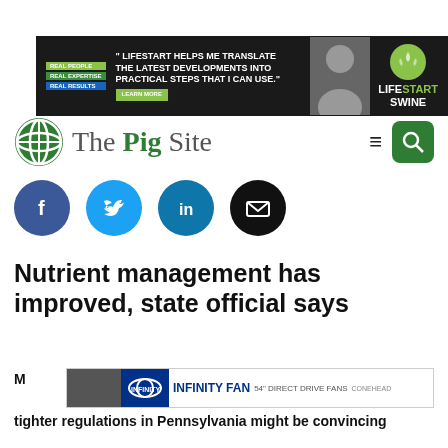[Figure (infographic): Advertisement banner for LifeStart Swine. Dark background with person photo, green tags reading REAL PEOPLE, REAL EXPERTISE, REAL RESULTS, quote text: LIFESTART HELPS ME TRANSLATE THE LATEST DEVELOPMENTS INTO PRACTICAL STEPS THAT I CAN USE. LifeStart Swine branding with green circle logo and LEARN MORE button.]
[Figure (logo): The Pig Site logo: green globe icon and text 'The Pig Site' with hamburger menu and green search button]
[Figure (infographic): Social sharing icons: Facebook (dark blue), Twitter (light blue), LinkedIn (teal blue), Email (black) - all circular]
Nutrient management has improved, state official says
Management programs for the state conservation commission said tighter regulations in Pennsylvania might be convincing operators to...
[Figure (infographic): Infinity Fan advertisement banner: 54 inch Direct Drive Fans with logo and brand imagery]